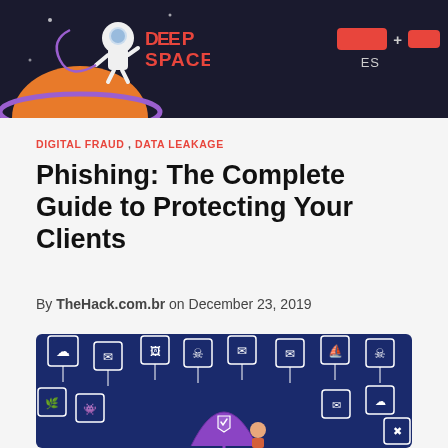Deep Space — PT ES [nav buttons]
DIGITAL FRAUD , DATA LEAKAGE
Phishing: The Complete Guide to Protecting Your Clients
By TheHack.com.br on December 23, 2019
[Figure (illustration): Hero illustration showing a purple umbrella held by a person, with hanging envelope icons and cybersecurity threat symbols on a dark blue background]